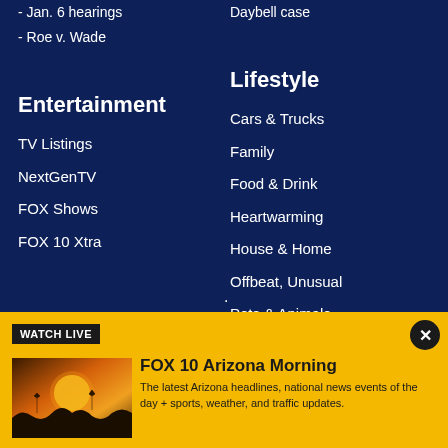- Jan. 6 hearings
Daybell case
- Roe v. Wade
Entertainment
TV Listings
NextGenTV
FOX Shows
FOX 10 Xtra
Lifestyle
Cars & Trucks
Family
Food & Drink
Heartwarming
House & Home
Offbeat, Unusual
Pets & Animals
Recipes
Restaurants
WATCH LIVE
[Figure (photo): FOX 10 Phoenix thumbnail with sunset/desert silhouette background]
FOX 10 Arizona Morning
The latest Arizona headlines, national news events of the day + sports, weather, and traffic updates.